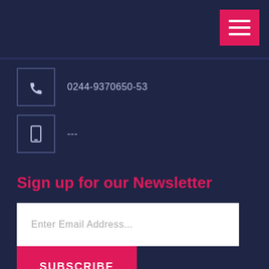[Figure (other): Navigation hamburger menu button (red background with three white horizontal lines) in top-right corner of dark navy header bar]
0244-9370650-53
---
Sign up for our Newsletter
Enter Email Address...
SUBSCRIBE
© 2018 Instruction. All rights reserved | Design by Ms. Umm-e-Rubab Hassan